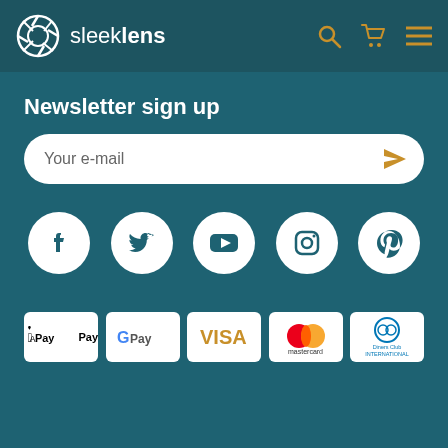sleeklens
Newsletter sign up
Your e-mail
[Figure (infographic): Social media icons row: Facebook, Twitter, YouTube, Instagram, Pinterest — white icons on white circles against teal background]
[Figure (infographic): Payment method logos: Apple Pay, Google Pay, Visa, Mastercard, Diners Club International — on white rounded rectangle cards]